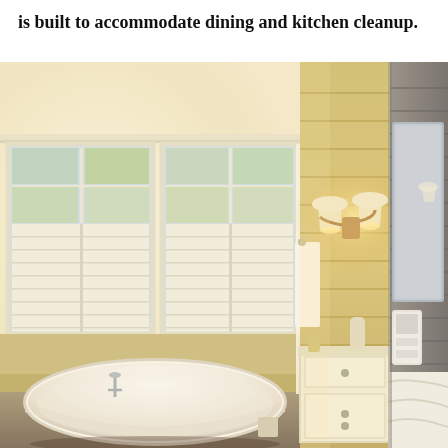is built to accommodate dining and kitchen cleanup.
[Figure (photo): Interior photo of a bright, rustic-style bathroom featuring a freestanding white clawfoot bathtub near large windows with white plantation shutters, wood-planked walls in warm golden tones, a wall-mounted double sconce light fixture, a white vanity cabinet, and a framed mirror on a weathered gray wood accent wall.]